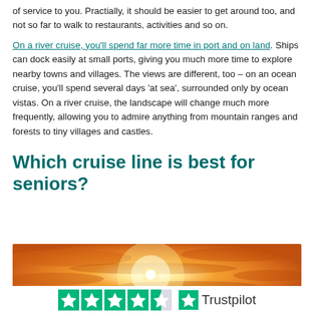of service to you. Practially, it should be easier to get around too, and not so far to walk to restaurants, activities and so on.
On a river cruise, you'll spend far more time in port and on land. Ships can dock easily at small ports, giving you much more time to explore nearby towns and villages. The views are different, too – on an ocean cruise, you'll spend several days 'at sea', surrounded only by ocean vistas. On a river cruise, the landscape will change much more frequently, allowing you to admire anything from mountain ranges and forests to tiny villages and castles.
Which cruise line is best for seniors?
[Figure (photo): Sunset sky with orange and golden clouds and a bright sun in the center]